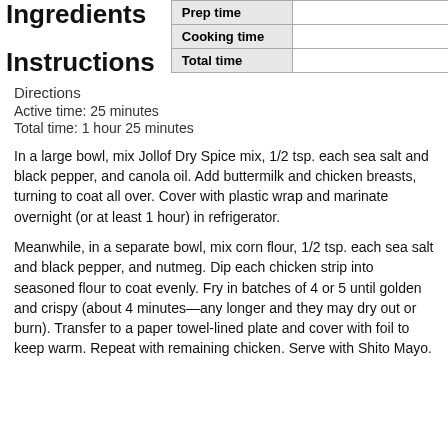Ingredients
|  |  |
| --- | --- |
| Prep time |  |
| Cooking time |  |
| Total time |  |
Instructions
Directions
Active time: 25 minutes
Total time: 1 hour 25 minutes
In a large bowl, mix Jollof Dry Spice mix, 1/2 tsp. each sea salt and black pepper, and canola oil. Add buttermilk and chicken breasts, turning to coat all over. Cover with plastic wrap and marinate overnight (or at least 1 hour) in refrigerator.
Meanwhile, in a separate bowl, mix corn flour, 1/2 tsp. each sea salt and black pepper, and nutmeg. Dip each chicken strip into seasoned flour to coat evenly. Fry in batches of 4 or 5 until golden and crispy (about 4 minutes—any longer and they may dry out or burn). Transfer to a paper towel-lined plate and cover with foil to keep warm. Repeat with remaining chicken. Serve with Shito Mayo.